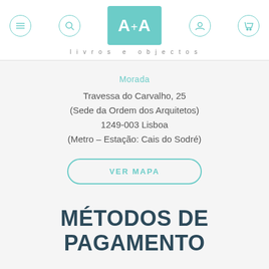[Figure (logo): A+A logo in teal square with tagline 'Livros e objectos' and navigation icons]
Morada
Travessa do Carvalho, 25
(Sede da Ordem dos Arquitetos)
1249-003 Lisboa
(Metro – Estação: Cais do Sodré)
VER MAPA
MÉTODOS DE PAGAMENTO